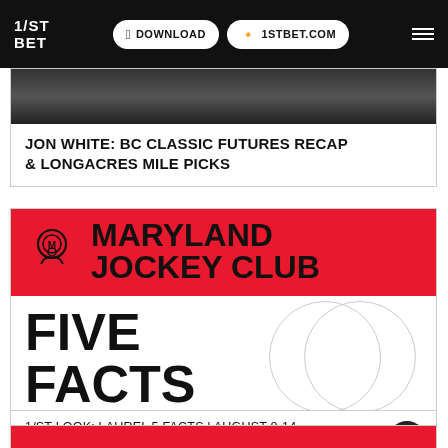1/ST BET | DOWNLOAD | 1STBET.COM
JON WHITE: BC CLASSIC FUTURES RECAP & LONGACRES MILE PICKS
[Figure (logo): Maryland Jockey Club logo on red background with text MARYLAND JOCKEY CLUB]
FIVE FACTS
1/ST LOOK: LAUREL 5 FACTS | AUGUST 8-14, 2022